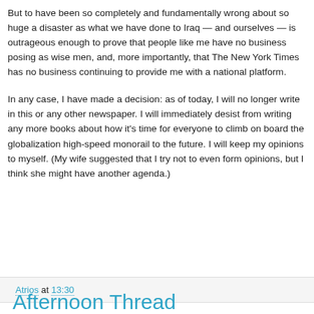But to have been so completely and fundamentally wrong about so huge a disaster as what we have done to Iraq — and ourselves — is outrageous enough to prove that people like me have no business posing as wise men, and, more importantly, that The New York Times has no business continuing to provide me with a national platform.
In any case, I have made a decision: as of today, I will no longer write in this or any other newspaper. I will immediately desist from writing any more books about how it's time for everyone to climb on board the globalization high-speed monorail to the future. I will keep my opinions to myself. (My wife suggested that I try not to even form opinions, but I think she might have another agenda.)
Atrios at 13:30
Afternoon Thread